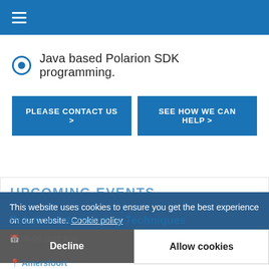Navigation hamburger menu
Java based Polarion SDK programming.
PLEASE CONTACT US > | SEE HOW WE CAN HELP >
UPCOMING EVENTS
This website uses cookies to ensure you get the best experience on our website. Cookie policy Privacy policy
Polarion Interviewing Techniques
26-09-2022 9:00
Amersfoort
Decline | Allow cookies